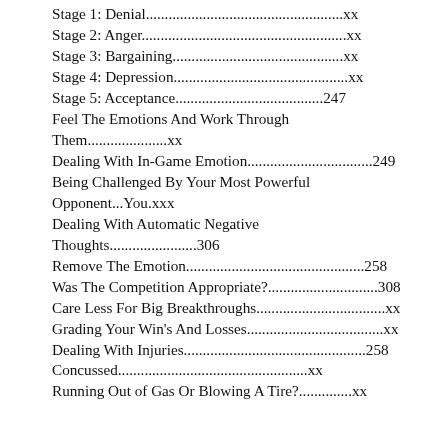Stage 1: Denial....................................................xx
Stage 2: Anger......................................................xx
Stage 3: Bargaining.............................................xx
Stage 4: Depression..............................................xx
Stage 5: Acceptance.......................................247
Feel The Emotions And Work Through Them.....................xx
Dealing With In-Game Emotion.................................249
Being Challenged By Your Most Powerful Opponent...You.xxx
Dealing With Automatic Negative Thoughts.......................306
Remove The Emotion...............................................258
Was The Competition Appropriate?.............................308
Care Less For Big Breakthroughs..................................xx
Grading Your Win's And Losses....................................xx
Dealing With Injuries................................................258
Concussed..................................................xx
Running Out of Gas Or Blowing A Tire?..............xx